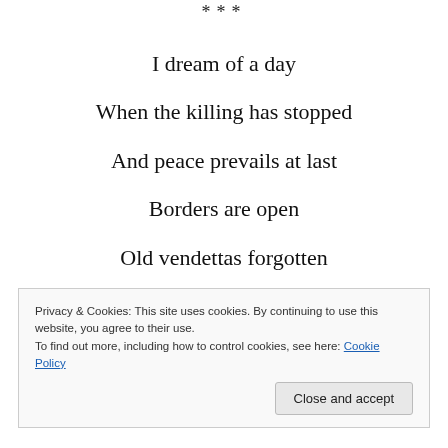***
I dream of a day
When the killing has stopped
And peace prevails at last
Borders are open
Old vendettas forgotten
Privacy & Cookies: This site uses cookies. By continuing to use this website, you agree to their use.
To find out more, including how to control cookies, see here: Cookie Policy